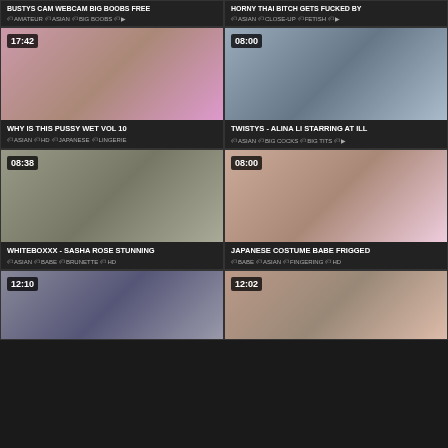BUSTYS CAM WEBCAM BIG BOOBS FREE
Tags: AMATEUR, ASIAN, BIG BOOBS
HORNY THAI BITCH GETS FUCKED BY
Tags: ASIAN, CLOSE-UP, FETISH
[Figure (photo): Video thumbnail 17:42 - WHY IS THIS PUSSY WET VOL 10]
WHY IS THIS PUSSY WET VOL 10
Tags: ASIAN, HD, JAPANESE, LINGERIE
[Figure (photo): Video thumbnail 08:00 - TWISTYS - ALINA LI STARRING AT ILL]
TWISTYS - ALINA LI STARRING AT ILL
Tags: ASIAN, BIG COCKS, BIG TITS
[Figure (photo): Video thumbnail 08:38 - WHITEBOXXX - SASHA ROSE STUNNING]
WHITEBOXXX - SASHA ROSE STUNNING
Tags: ASIAN, BABE, BRUNETTE, HD
[Figure (photo): Video thumbnail 08:00 - JAPANESE COSTUME BABE FRIGGED]
JAPANESE COSTUME BABE FRIGGED
Tags: BABE, ASIAN, FINGERING, HD
[Figure (photo): Video thumbnail 12:10 - partial view]
[Figure (photo): Video thumbnail 12:02 - partial view]